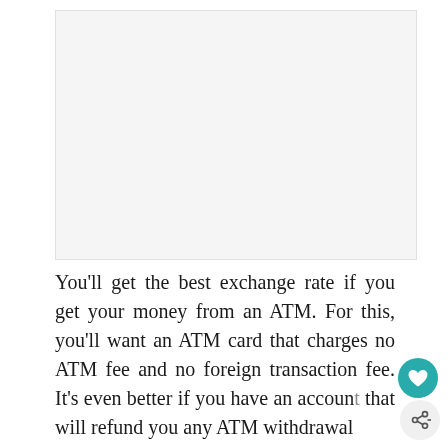[Figure (other): Blank/white image placeholder area at top of page]
You'll get the best exchange rate if you get your money from an ATM. For this, you'll want an ATM card that charges no ATM fee and no foreign transaction fee. It's even better if you have an account that will refund you any ATM withdrawal